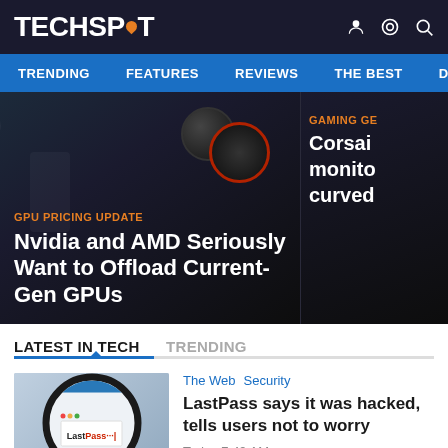TECHSPOT
TRENDING  FEATURES  REVIEWS  THE BEST  DOWNLC
[Figure (screenshot): Hero banner image showing GPU hardware with dark background. Left panel: GPU PRICING UPDATE tag with headline 'Nvidia and AMD Seriously Want to Offload Current-Gen GPUs'. Right panel: GAMING GE tag with partial text 'Corsai monito curved'.]
LATEST IN TECH
TRENDING
[Figure (screenshot): Thumbnail image of LastPass logo viewed through a magnifying glass on a blue/grey background]
The Web  Security
LastPass says it was hacked, tells users not to worry
Today 7:49 AM